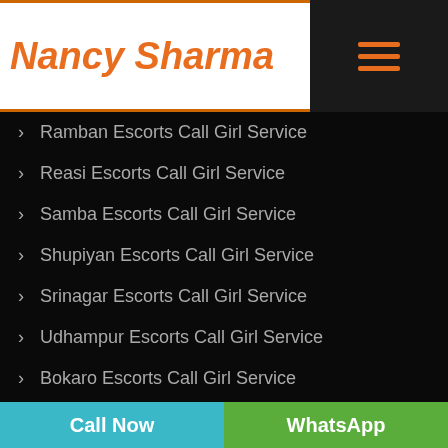Nancy Sharma
Ramban Escorts Call Girl Service
Reasi Escorts Call Girl Service
Samba Escorts Call Girl Service
Shupiyan Escorts Call Girl Service
Srinagar Escorts Call Girl Service
Udhampur Escorts Call Girl Service
Bokaro Escorts Call Girl Service
Chatra Escorts Call Girl Service
Call Now | WhatsApp